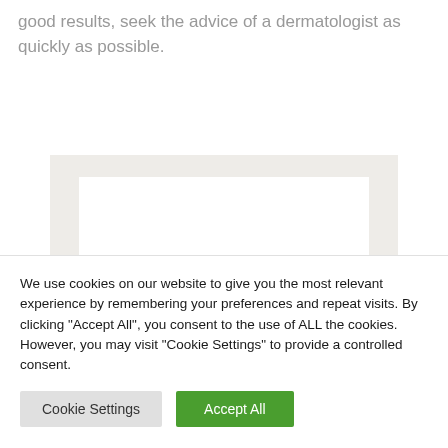good results, seek the advice of a dermatologist as quickly as possible.
[Figure (other): Blank placeholder image area with beige/off-white background and white inner panel]
We use cookies on our website to give you the most relevant experience by remembering your preferences and repeat visits. By clicking "Accept All", you consent to the use of ALL the cookies. However, you may visit "Cookie Settings" to provide a controlled consent.